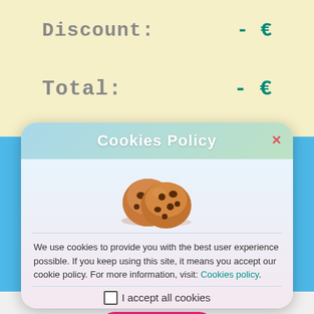Discount:   - €
Total:   - €
Cookies Policy
[Figure (illustration): Two chocolate chip cookies stacked together, illustrated in a cartoon style with brown color and dark chocolate chips]
We use cookies to provide you with the best user experience possible. If you keep using this site, it means you accept our cookie policy. For more information, visit: Cookies policy.
I accept all cookies
Accept